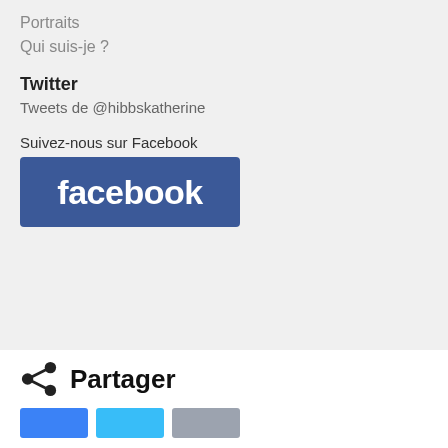Portraits
Qui suis-je ?
Twitter
Tweets de @hibbskatherine
Suivez-nous sur Facebook
[Figure (logo): Facebook logo button — blue rectangle with white bold 'facebook' text]
Partager
[Figure (infographic): Three share buttons in blue, light blue, and gray]